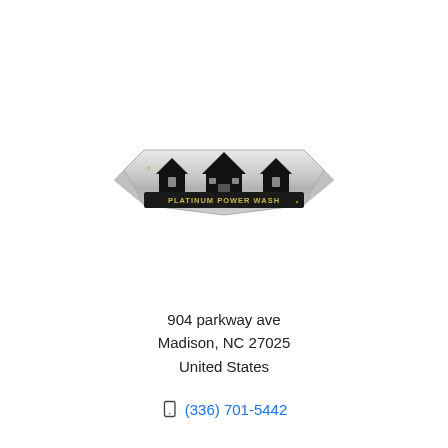[Figure (logo): Platinum Power Wash logo featuring three house silhouettes with black roofs on a silver/chrome shield-shaped background with the text PLATINUM POWER WASH]
904 parkway ave
Madison, NC 27025
United States
(336) 701-5442